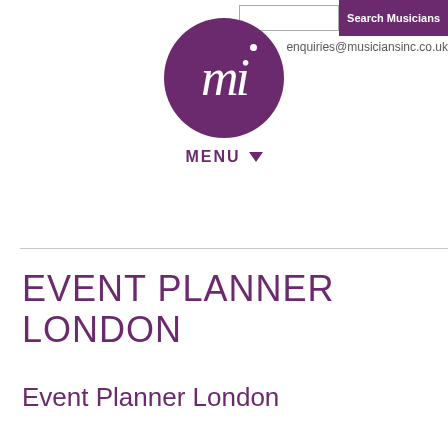Search Musicians  enquiries@musiciansinc.co.uk
[Figure (logo): Musicians Inc logo: purple circle with white italic 'mi' text and a dot above the i, with MENU dropdown label below]
EVENT PLANNER LONDON
Event Planner London